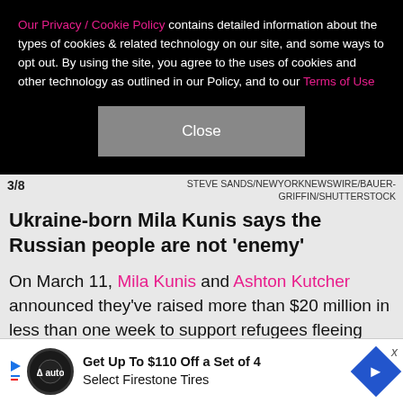Our Privacy / Cookie Policy contains detailed information about the types of cookies & related technology on our site, and some ways to opt out. By using the site, you agree to the uses of cookies and other technology as outlined in our Policy, and to our Terms of Use
Close
3/8  STEVE SANDS/NEWYORKNEWSWIRE/BAUER-GRIFFIN/SHUTTERSTOCK
Ukraine-born Mila Kunis says the Russian people are not 'enemy'
On March 11, Mila Kunis and Ashton Kutcher announced they've raised more than $20 million in less than one week to support refugees fleeing Ukraine in the wake of Russia's invasion. As the couple continues working toward their fundraising goal of $30,000, Mila 38, is opening up about her experience as a native
Get Up To $110 Off a Set of 4 Select Firestone Tires